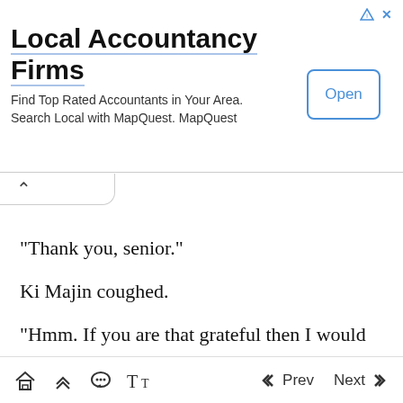[Figure (infographic): Advertisement banner for Local Accountancy Firms with 'Open' button]
"Thank you, senior."
Ki Majin coughed.
"Hmm. If you are that grateful then I would appreciate it if I don't get a penalty for being out today."
"... sure."
Despite being the manager, he wasn't too stiff. Even if Ki Majin didn't say it, he was going to pay
Home  Up  Chat  Font  Prev  Next